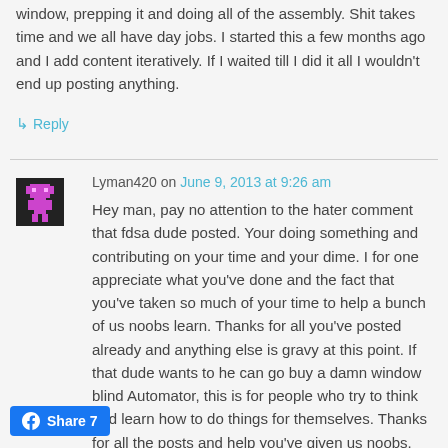window, prepping it and doing all of the assembly. Shit takes time and we all have day jobs. I started this a few months ago and I add content iteratively. If I waited till I did it all I wouldn't end up posting anything.
↳ Reply
Lyman420 on June 9, 2013 at 9:26 am
Hey man, pay no attention to the hater comment that fdsa dude posted. Your doing something and contributing on your time and your dime. I for one appreciate what you've done and the fact that you've taken so much of your time to help a bunch of us noobs learn. Thanks for all you've posted already and anything else is gravy at this point. If that dude wants to he can go buy a damn window blind Automator, this is for people who try to think and learn how to do things for themselves. Thanks for all the posts and help you've given us noobs. Look forward to more from you! Lyman the pieman.